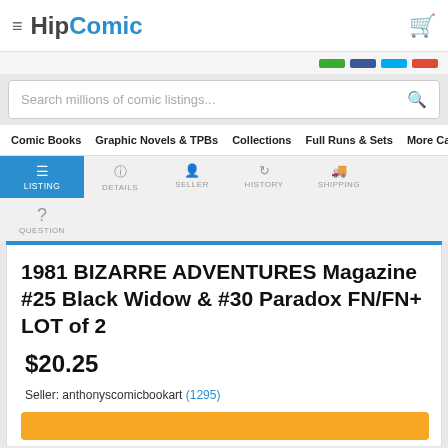[Figure (logo): HipComic website logo with hamburger menu and shopping cart icon]
Search millions of comic listings...
Comic Books | Graphic Novels & TPBs | Collections | Full Runs & Sets | More Categ
LISTING | DETAILS | SELLER | HISTORY | SHIPPING | QUESTION
1981 BIZARRE ADVENTURES Magazine #25 Black Widow & #30 Paradox FN/FN+ LOT of 2
$20.25
Seller: anthonyscomicbookart (1295)